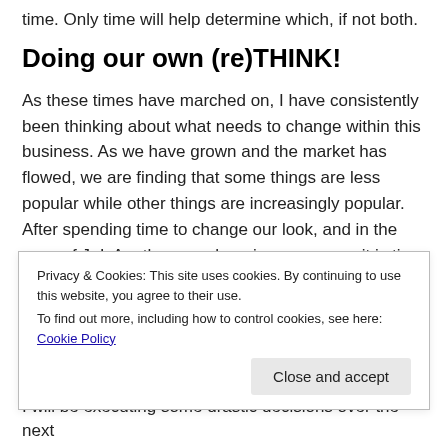time. Only time will help determine which, if not both.
Doing our own (re)THINK!
As these times have marched on, I have consistently been thinking about what needs to change within this business. As we have grown and the market has flowed, we are finding that some things are less popular while other things are increasingly popular. After spending time to change our look, and in the case of J+L Apothecary, changing our name; it is time we need to start looking at what products need to change. And what about our overall presentation and offerings? Do we keep adding new until we feel we
Privacy & Cookies: This site uses cookies. By continuing to use this website, you agree to their use.
To find out more, including how to control cookies, see here: Cookie Policy
Close and accept
I will be executing some drastic decisions over the next